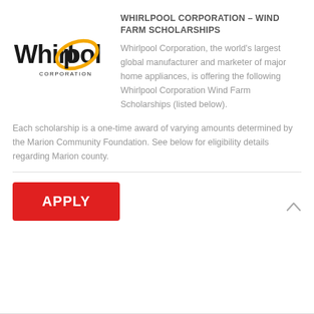[Figure (logo): Whirlpool Corporation logo with yellow swoosh and 'CORPORATION' text]
WHIRLPOOL CORPORATION – WIND FARM SCHOLARSHIPS
Whirlpool Corporation, the world's largest global manufacturer and marketer of major home appliances, is offering the following Whirlpool Corporation Wind Farm Scholarships (listed below).
Each scholarship is a one-time award of varying amounts determined by the Marion Community Foundation. See below for eligibility details regarding Marion county.
[Figure (other): Red APPLY button]